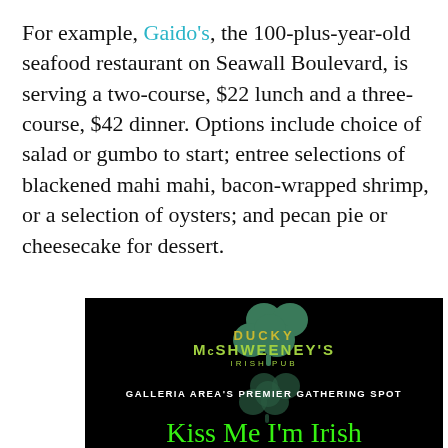For example, Gaido's, the 100-plus-year-old seafood restaurant on Seawall Boulevard, is serving a two-course, $22 lunch and a three-course, $42 dinner. Options include choice of salad or gumbo to start; entree selections of blackened mahi mahi, bacon-wrapped shrimp, or a selection of oysters; and pecan pie or cheesecake for dessert.
[Figure (logo): Ducky McShweeney's Irish Pub logo on black background with shamrock graphic and text 'GALLERIA AREA'S PREMIER GATHERING SPOT'. Bottom portion shows neon-style text 'Kiss Me I'm Irish'.]